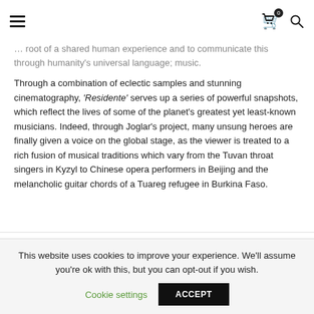≡  [cart icon 0]  [search icon]
…root of a shared human experience and to communicate this through humanity's universal language; music.
Through a combination of eclectic samples and stunning cinematography, 'Residente' serves up a series of powerful snapshots, which reflect the lives of some of the planet's greatest yet least-known musicians. Indeed, through Joglar's project, many unsung heroes are finally given a voice on the global stage, as the viewer is treated to a rich fusion of musical traditions which vary from the Tuvan throat singers in Kyzyl to Chinese opera performers in Beijing and the melancholic guitar chords of a Tuareg refugee in Burkina Faso.
This website uses cookies to improve your experience. We'll assume you're ok with this, but you can opt-out if you wish.
Cookie settings   ACCEPT